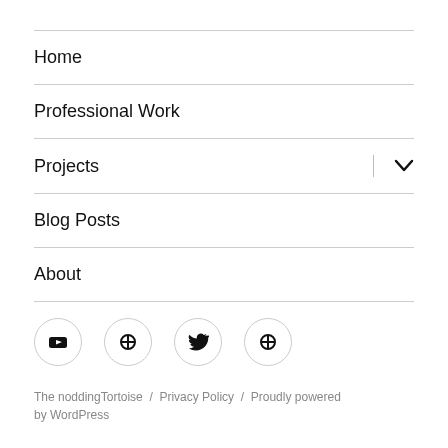Home
Professional Work
Projects
Blog Posts
About
[Figure (other): Row of four social media icon buttons in circles: YouTube, a custom icon, Twitter, and another custom icon]
The noddingTortoise / Privacy Policy / Proudly powered by WordPress